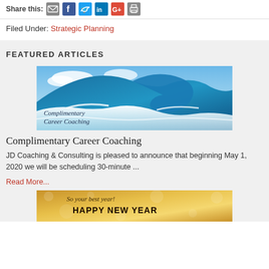Share this:
Filed Under: Strategic Planning
FEATURED ARTICLES
[Figure (photo): Ocean wave photo with text overlay 'Complimentary Career Coaching']
Complimentary Career Coaching
JD Coaching & Consulting is pleased to announce that beginning May 1, 2020 we will be scheduling 30-minute ...
Read More...
[Figure (photo): Happy New Year banner with text 'So your best year! HAPPY NEW YEAR' on gold bokeh background]